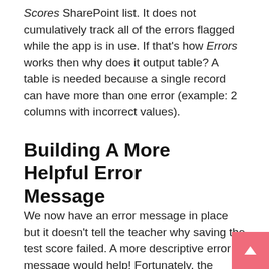Scores SharePoint list. It does not cumulatively track all of the errors flagged while the app is in use. If that's how Errors works then why does it output table? A table is needed because a single record can have more than one error (example: 2 columns with incorrect values).
Building A More Helpful Error Message
We now have an error message in place but it doesn't tell the teacher why saving the test score failed. A more descriptive error message would help! Fortunately, the Errors function returns a